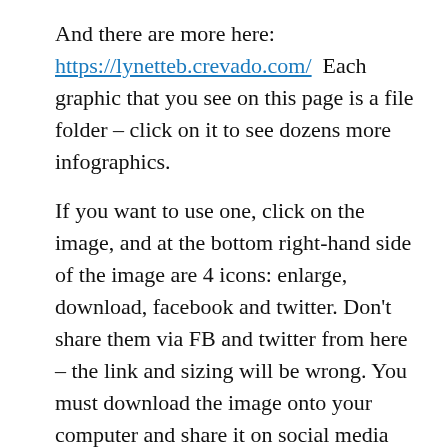And there are more here: https://lynetteb.crevado.com/  Each graphic that you see on this page is a file folder – click on it to see dozens more infographics.
If you want to use one, click on the image, and at the bottom right-hand side of the image are 4 icons: enlarge, download, facebook and twitter. Don't share them via FB and twitter from here – the link and sizing will be wrong. You must download the image onto your computer and share it on social media from there. The download icon is the one with the downward arrow.
Be sure to add some text along with your